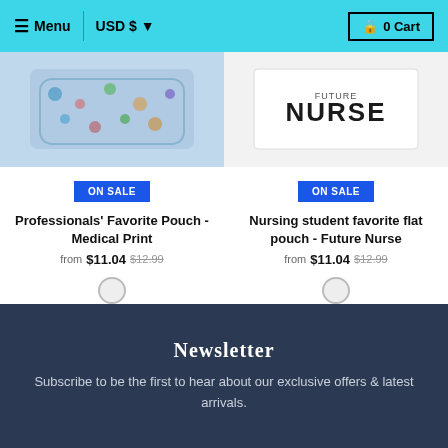☰ Menu | USD $ ▾ | 🔒 0 Cart
[Figure (photo): Product image of Professionals' Favorite Pouch - Medical Print with colorful pattern]
ON SALE
Professionals' Favorite Pouch - Medical Print
from $11.04 $12.99
[Figure (photo): Product image of Nursing student favorite flat pouch - Future Nurse, white with NURSE text]
ON SALE
Nursing student favorite flat pouch - Future Nurse
from $11.04 $12.99
Newsletter
Subscribe to be the first to hear about our exclusive offers & latest arrivals.